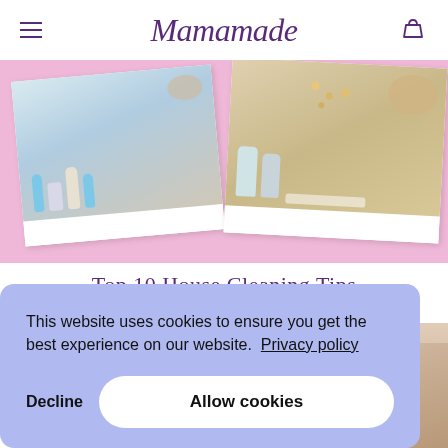Mamamade
[Figure (photo): Two polaroid-style product photos on a pink background showing Mamamade baby food products, spoons, and snacks on a table surface]
Top 10 House Cleaning Tips For Busy Parents
This website uses cookies to ensure you get the best experience on our website. Privacy policy
Decline   Allow cookies